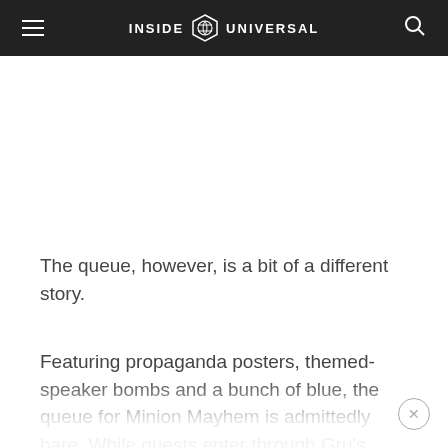INSIDE UNIVERSAL
The queue, however, is a bit of a different story.
Featuring propaganda posters, themed-speaker bombs and a bunch of blue, the queue for Minion Mayhem is admittedly bare. While guests enter through Gru's nicely